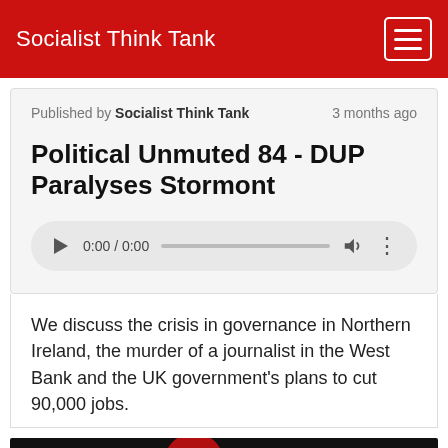Socialist Think Tank
Published by Socialist Think Tank   3 months ago
Political Unmuted 84 - DUP Paralyses Stormont
[Figure (other): Audio player widget showing 0:00 / 0:00 with play button, progress bar, volume icon, and more options icon]
We discuss the crisis in governance in Northern Ireland, the murder of a journalist in the West Bank and the UK government's plans to cut 90,000 jobs.
[Figure (photo): Partial image at the bottom showing a dark background with a red circular shape]